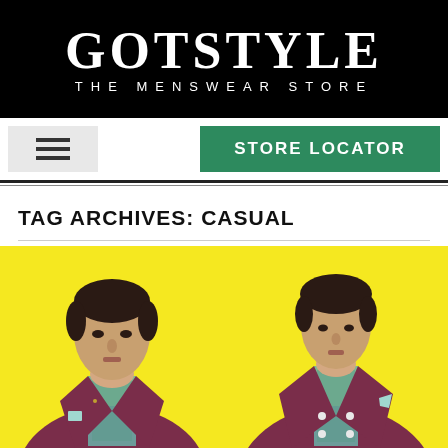[Figure (logo): GOTSTYLE - THE MENSWEAR STORE logo, white text on black background]
[Figure (infographic): Navigation bar with hamburger menu icon on the left and green STORE LOCATOR button on the right]
TAG ARCHIVES: CASUAL
[Figure (photo): Two male models wearing burgundy/maroon blazers over patterned shirts against a yellow background. Left model shows close-up of face and upper body, right model shows more of double-breasted jacket with pocket square.]